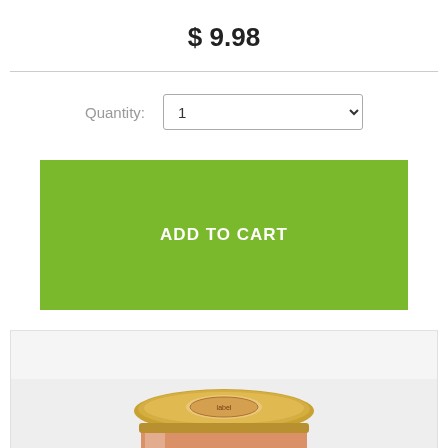$ 9.98
Quantity: 1
ADD TO CART
[Figure (photo): Product photo of a glass jar with a gold lid, containing what appears to be a food product (jam or preserve), partially visible at the bottom of the page.]